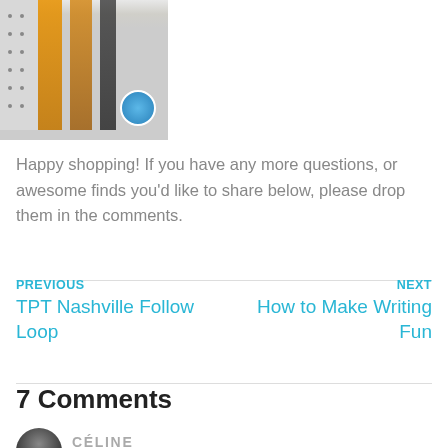[Figure (photo): Photo of orange and brown yarn or fabric strips hanging on a pegboard display, with a circular blue badge/sticker visible in the lower right of the image.]
Happy shopping! If you have any more questions, or awesome finds you'd like to share below, please drop them in the comments.
PREVIOUS
TPT Nashville Follow Loop
NEXT
How to Make Writing Fun
7 Comments
CÉLINE